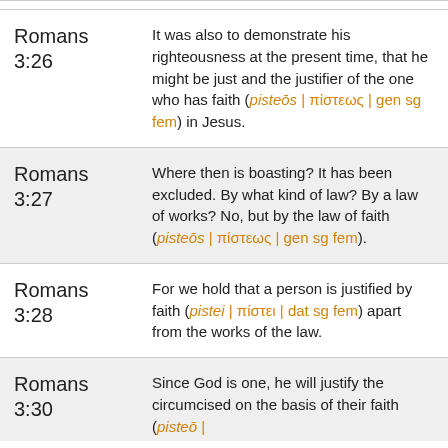| Reference | Text |
| --- | --- |
| Romans 3:26 | It was also to demonstrate his righteousness at the present time, that he might be just and the justifier of the one who has faith (pisteōs | πίστεως | gen sg fem) in Jesus. |
| Romans 3:27 | Where then is boasting? It has been excluded. By what kind of law? By a law of works? No, but by the law of faith (pisteōs | πίστεως | gen sg fem). |
| Romans 3:28 | For we hold that a person is justified by faith (pistei | πίστει | dat sg fem) apart from the works of the law. |
| Romans 3:30 | Since God is one, he will justify the circumcised on the basis of their faith (pisteō |… |